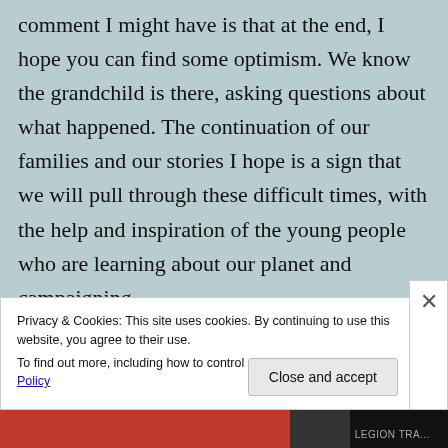comment I might have is that at the end, I hope you can find some optimism. We know the grandchild is there, asking questions about what happened. The continuation of our families and our stories I hope is a sign that we will pull through these difficult times, with the help and inspiration of the young people who are learning about our planet and campaigning
Privacy & Cookies: This site uses cookies. By continuing to use this website, you agree to their use.
To find out more, including how to control cookies, see here: Cookie Policy